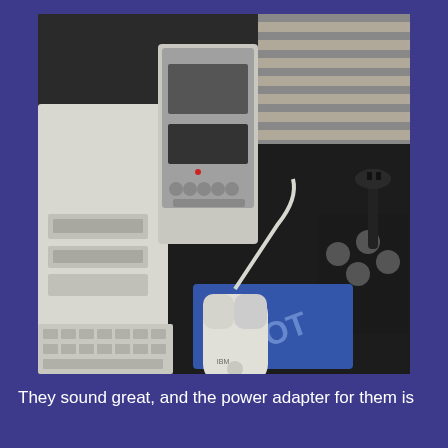[Figure (photo): A desk scene showing vintage/retro computer equipment: a white tower PC with floppy drives on the left, a silver mini stereo/speaker unit in the center-back, window blinds in the upper right, a joystick controller on the right side, a white IBM ball mouse on a blue LOT airline mouse pad, and cables on a dark desk surface.]
They sound great, and the power adapter for them is